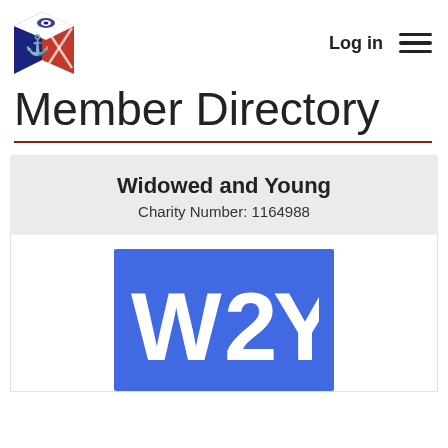Log in  ☰
Member Directory
Widowed and Young
Charity Number: 1164988
[Figure (logo): WAY (Widowed and Young) logo – white text W2Y on blue background]